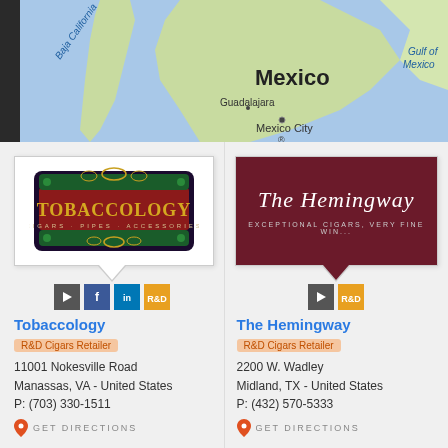[Figure (map): Google Maps view showing Mexico, Baja California peninsula, Gulf of Mexico, Guadalajara, and Mexico City labels on a blue/green map background]
[Figure (logo): Tobaccology logo - ornate dark logo with gold text reading TOBACCOLOGY, CIGARS - PIPES - ACCESSORIES on decorative green background]
[Figure (logo): The Hemingway logo - dark maroon/burgundy background with cursive white text 'The Hemingway' and subtitle 'EXCEPTIONAL CIGARS, VERY FINE WIN...']
Tobaccology
R&D Cigars Retailer
11001 Nokesville Road
Manassas, VA - United States
P: (703) 330-1511
GET DIRECTIONS
The Hemingway
R&D Cigars Retailer
2200 W. Wadley
Midland, TX - United States
P: (432) 570-5333
GET DIRECTIONS